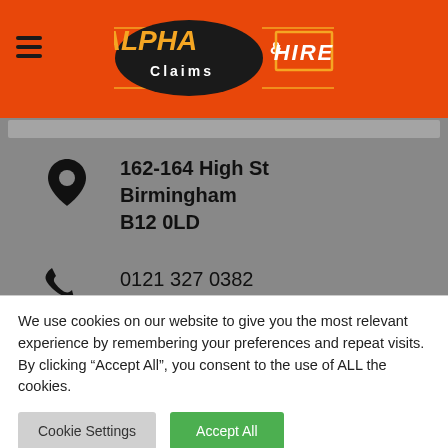[Figure (logo): Alpha Claims & Hire logo with orange oval background, white and orange text]
162-164 High St
Birmingham
B12 0LD
0121 327 0382
info@alphaclaimsandhire.co.uk
Services
Home
We use cookies on our website to give you the most relevant experience by remembering your preferences and repeat visits. By clicking “Accept All”, you consent to the use of ALL the cookies.